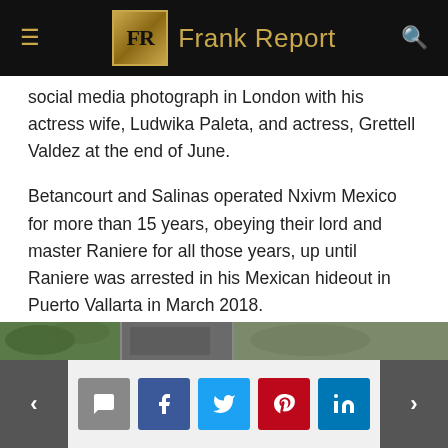Frank Report
social media photograph in London with his actress wife, Ludwika Paleta, and actress, Grettell Valdez at the end of June.
Betancourt and Salinas operated Nxivm Mexico for more than 15 years, obeying their lord and master Raniere for all those years, up until Raniere was arrested in his Mexican hideout in Puerto Vallarta in March 2018.
In November 2017, Frank Report first revealed that Raniere fled to Monterrey, Mexico and posted pictures of him walking there with his sex slave Jimena Garza.
[Figure (photo): Photo strip at bottom of article showing outdoor scene]
Navigation footer with social share buttons: comment, facebook, twitter, pinterest, linkedin